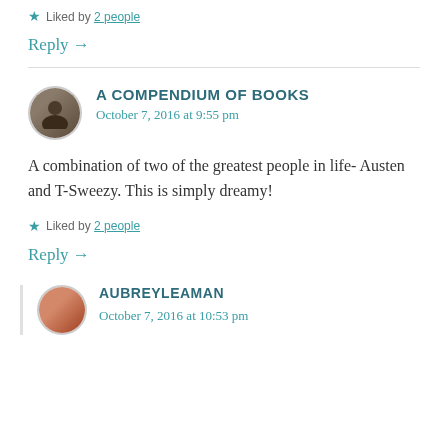Liked by 2 people
Reply →
A COMPENDIUM OF BOOKS
October 7, 2016 at 9:55 pm
A combination of two of the greatest people in life- Austen and T-Sweezy. This is simply dreamy!
Liked by 2 people
Reply →
AUBREYLEAMAN
October 7, 2016 at 10:53 pm